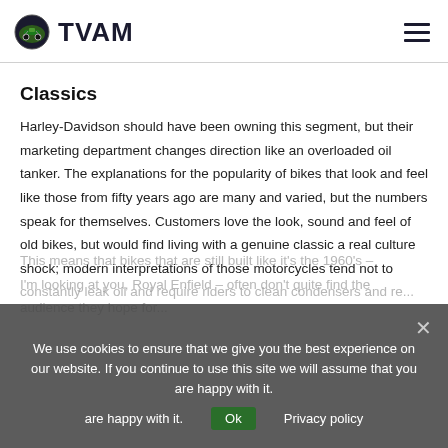TVAM
Classics
Harley-Davidson should have been owning this segment, but their marketing department changes direction like an overloaded oil tanker. The explanations for the popularity of bikes that look and feel like those from fifty years ago are many and varied, but the numbers speak for themselves. Customers love the look, sound and feel of old bikes, but would find living with a genuine classic a real culture shock; modern interpretations of those motorcycles tend not to constantly leak oil and require riders to clean condensers and ...
This means that bikes that are still built like it's the 1960's – I'm looking at you, Royal Enfield – often don't quite find the audience they hope for...
We use cookies to ensure that we give you the best experience on our website. If you continue to use this site we will assume that you are happy with it. Privacy policy